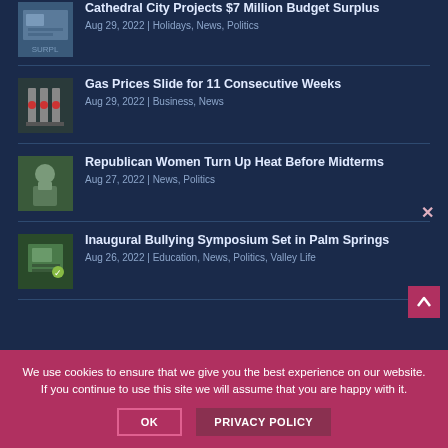Cathedral City Projects $7 Million Budget Surplus | Aug 29, 2022 | Holidays, News, Politics
Gas Prices Slide for 11 Consecutive Weeks | Aug 29, 2022 | Business, News
Republican Women Turn Up Heat Before Midterms | Aug 27, 2022 | News, Politics
Inaugural Bullying Symposium Set in Palm Springs | Aug 26, 2022 | Education, News, Politics, Valley Life
We use cookies to ensure that we give you the best experience on our website. If you continue to use this site we will assume that you are happy with it.